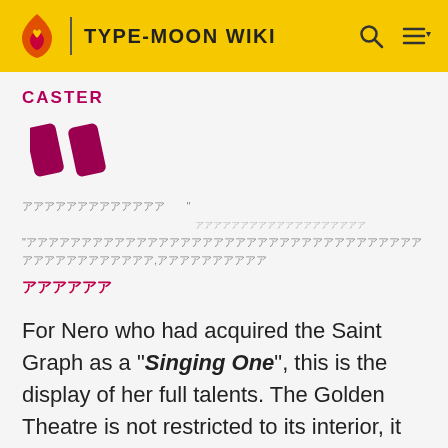TYPE-MOON WIKI
CASTER
For Nero who had acquired the Saint Graph as a "Singing One", this is the display of her full talents. The Golden Theatre is not restricted to its interior, it has become an